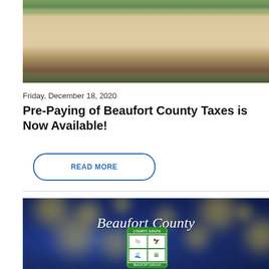[Figure (photo): Exterior photo of Beaufort County government building with palm trees and green vegetation, tan/cream colored building facade]
Friday, December 18, 2020
Pre-Paying of Beaufort County Taxes is Now Available!
READ MORE
[Figure (photo): Dark blue holiday card image with bokeh golden lights and snowflakes, 'Beaufort County' text in white italic script, with official county seal showing green border and grid of four images]